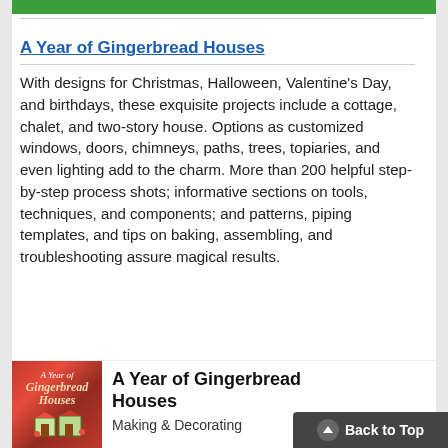A Year of Gingerbread Houses
With designs for Christmas, Halloween, Valentine's Day, and birthdays, these exquisite projects include a cottage, chalet, and two-story house. Options as customized windows, doors, chimneys, paths, trees, topiaries, and even lighting add to the charm. More than 200 helpful step-by-step process shots; informative sections on tools, techniques, and components; and patterns, piping templates, and tips on baking, assembling, and troubleshooting assure magical results.
[Figure (photo): Book cover of 'A Year of Gingerbread Houses' with red and green themed gingerbread house illustration]
A Year of Gingerbread Houses
Making & Decorating